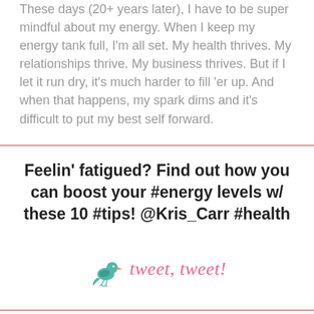These days (20+ years later), I have to be super mindful about my energy. When I keep my energy tank full, I'm all set. My health thrives. My relationships thrive. My business thrives. But if I let it run dry, it's much harder to fill 'er up. And when that happens, my spark dims and it's difficult to put my best self forward.
Feelin' fatigued? Find out how you can boost your #energy levels w/ these 10 #tips! @Kris_Carr #health
[Figure (illustration): Teal bird illustration next to pink italic text reading 'tweet, tweet!']